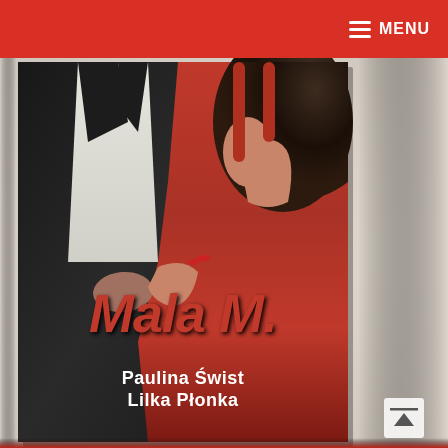MENU
[Figure (photo): A photograph of a book titled 'Mala M.' by Paulina Świst and Lilka Płonka, placed on a fluffy white/cream surface. The book cover features a man in a dark suit and a woman in a red dress embracing. The title 'Mala M.' is in large red text, and the authors' names 'Paulina Świst Lilka Płonka' are in white text below.]